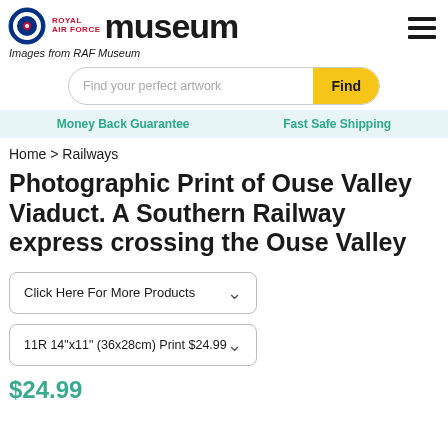Royal Air Force Museum | Images from RAF Museum
Find your perfect artwork | Find
Money Back Guarantee | Fast Safe Shipping
Home > Railways
Photographic Print of Ouse Valley Viaduct. A Southern Railway express crossing the Ouse Valley
Click Here For More Products
11R 14"x11" (36x28cm) Print $24.99
$24.99